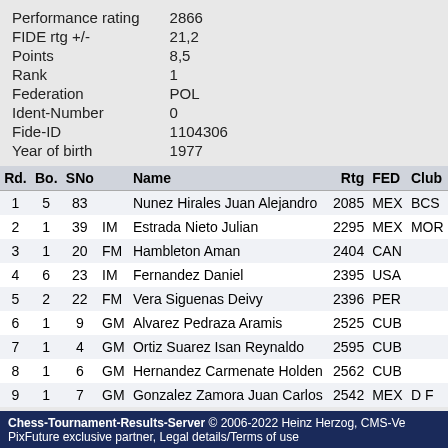| Field | Value |
| --- | --- |
| Performance rating | 2866 |
| FIDE rtg +/- | 21,2 |
| Points | 8,5 |
| Rank | 1 |
| Federation | POL |
| Ident-Number | 0 |
| Fide-ID | 1104306 |
| Year of birth | 1977 |
| Rd. | Bo. | SNo |  | Name | Rtg | FED | Club |
| --- | --- | --- | --- | --- | --- | --- | --- |
| 1 | 5 | 83 |  | Nunez Hirales Juan Alejandro | 2085 | MEX | BCS |
| 2 | 1 | 39 | IM | Estrada Nieto Julian | 2295 | MEX | MOR |
| 3 | 1 | 20 | FM | Hambleton Aman | 2404 | CAN |  |
| 4 | 6 | 23 | IM | Fernandez Daniel | 2395 | USA |  |
| 5 | 2 | 22 | FM | Vera Siguenas Deivy | 2396 | PER |  |
| 6 | 1 | 9 | GM | Alvarez Pedraza Aramis | 2525 | CUB |  |
| 7 | 1 | 4 | GM | Ortiz Suarez Isan Reynaldo | 2595 | CUB |  |
| 8 | 1 | 6 | GM | Hernandez Carmenate Holden | 2562 | CUB |  |
| 9 | 1 | 7 | GM | Gonzalez Zamora Juan Carlos | 2542 | MEX | D F |
Chess-Tournament-Results-Server © 2006-2022 Heinz Herzog, CMS-Ve PixFuture exclusive partner, Legal details/Terms of use